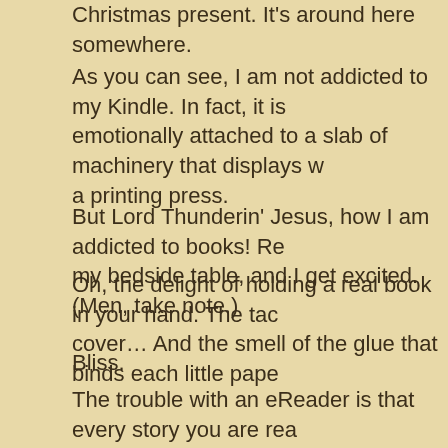Christmas present. It's around here somewhere.
As you can see, I am not addicted to my Kindle. In fact, it is emotionally attached to a slab of machinery that displays w a printing press.
But Lord Thunderin' Jesus, how I am addicted to books! Re my bedside table, and I get excited. (Men, take note.)
Oh, the delight of holding a real book in your hand. The tac cover… And the smell of the glue that binds each little pape
Bliss.
The trouble with an eReader is that every story you are rea same. And that changes the experience for me.
I realize that a lot of people love to read on Kindles. I might Kindles.) But I highly suspect they are the same sort of peo